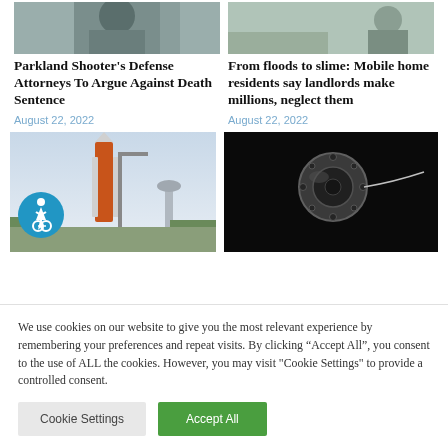[Figure (photo): Top portion of a person's face/head, partially visible at top of left column]
Parkland Shooter's Defense Attorneys To Argue Against Death Sentence
August 22, 2022
[Figure (photo): Person in outdoor setting, partially visible at top of right column]
From floods to slime: Mobile home residents say landlords make millions, neglect them
August 22, 2022
[Figure (photo): NASA rocket on launch pad with water tower in background (Artemis SLS rocket)]
[Figure (photo): Close-up of spacecraft component against black background]
We use cookies on our website to give you the most relevant experience by remembering your preferences and repeat visits. By clicking “Accept All”, you consent to the use of ALL the cookies. However, you may visit "Cookie Settings" to provide a controlled consent.